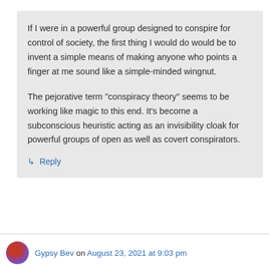If I were in a powerful group designed to conspire for control of society, the first thing I would do would be to invent a simple means of making anyone who points a finger at me sound like a simple-minded wingnut.

The pejorative term “conspiracy theory” seems to be working like magic to this end. It’s become a subconscious heuristic acting as an invisibility cloak for powerful groups of open as well as covert conspirators.
⤷ Reply
Gypsy Bev on August 23, 2021 at 9:03 pm